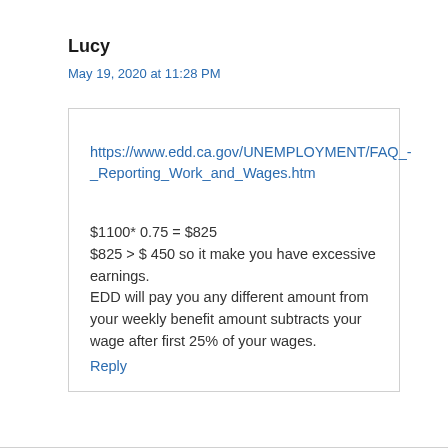Lucy
May 19, 2020 at 11:28 PM
https://www.edd.ca.gov/UNEMPLOYMENT/FAQ_-_Reporting_Work_and_Wages.htm
$1100* 0.75 = $825
$825 > $ 450 so it make you have excessive earnings.
EDD will pay you any different amount from your weekly benefit amount subtracts your wage after first 25% of your wages.
Reply